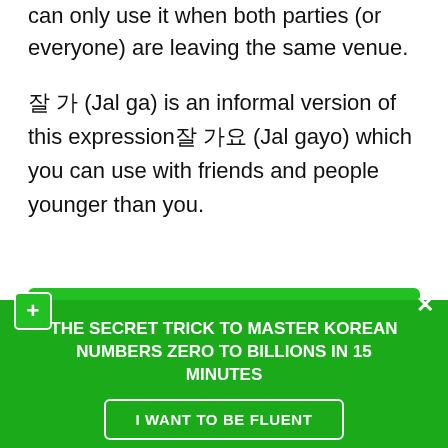can only use it when both parties (or everyone) are leaving the same venue.
잘 가 (Jal ga) is an informal version of this expression잘 가요 (Jal gayo) which you can use with friends and people younger than you.
Do you know how to Say yes in Korean?
THE SECRET TRICK TO MASTER KOREAN NUMBERS ZERO TO BILLIONS IN 15 MINUTES
I WANT TO BE FLUENT